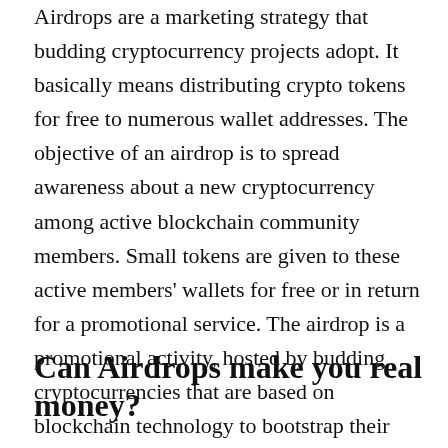Airdrops are a marketing strategy that budding cryptocurrency projects adopt. It basically means distributing crypto tokens for free to numerous wallet addresses. The objective of an airdrop is to spread awareness about a new cryptocurrency among active blockchain community members. Small tokens are given to these active members' wallets for free or in return for a promotional service.  The airdrop is a promotional activity, hosted by budding cryptocurrencies that are based on blockchain technology to bootstrap their new project.
Can Airdrops make you real money?